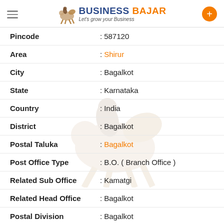BUSINESS BAJAR — Let's grow your Business
| Field | Value |
| --- | --- |
| Pincode | 587120 |
| Area | Shirur |
| City | Bagalkot |
| State | Karnataka |
| Country | India |
| District | Bagalkot |
| Postal Taluka | Bagalkot |
| Post Office Type | B.O. ( Branch Office ) |
| Related Sub Office | Kamatgi |
| Related Head Office | Bagalkot |
| Postal Division | Bagalkot |
| Postal Region | North Karnataka |
| Postal Circle | Karnataka |